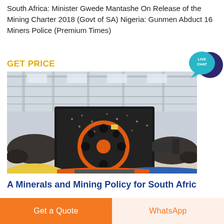South Africa: Minister Gwede Mantashe On Release of the Mining Charter 2018 (Govt of SA) Nigeria: Gunmen Abduct 16 Miners Police (Premium Times)
GET PRICE
[Figure (photo): Large industrial mining crusher/mill machine with orange circular rotor face, displayed inside a large industrial warehouse/factory building. Yellow and blue curved structures visible at the base.]
A Minerals and Mining Policy for South Afric
Introduction South Africa mining industry is
Get a Quote
WhatsApp